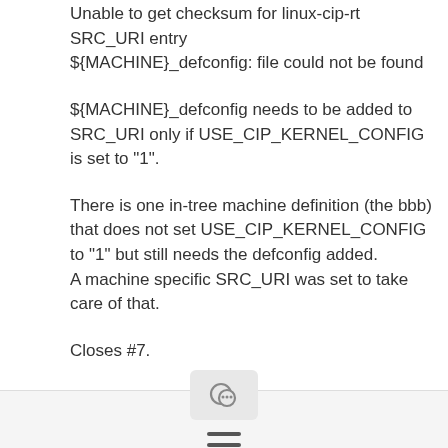Unable to get checksum for linux-cip-rt SRC_URI entry
${MACHINE}_defconfig: file could not be found
${MACHINE}_defconfig needs to be added to SRC_URI only if USE_CIP_KERNEL_CONFIG is set to "1".
There is one in-tree machine definition (the bbb) that does not set USE_CIP_KERNEL_CONFIG to "1" but still needs the defconfig added.
A machine specific SRC_URI was set to take care of that.
Closes #7.
Signed-off-by: Florian Bezdeka
<florian.bezdeka@...>
[Figure (other): Bottom navigation bar with chat bubble icon button and hamburger menu icon]